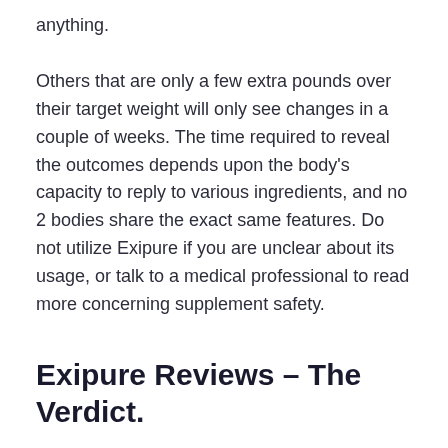anything.
Others that are only a few extra pounds over their target weight will only see changes in a couple of weeks. The time required to reveal the outcomes depends upon the body's capacity to reply to various ingredients, and no 2 bodies share the exact same features. Do not utilize Exipure if you are unclear about its usage, or talk to a medical professional to read more concerning supplement safety.
Exipure Reviews – The Verdict.